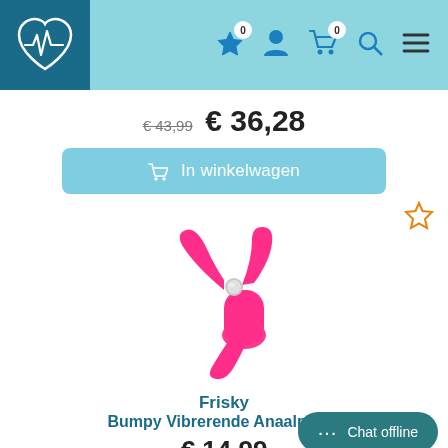[Figure (screenshot): Website header with teal background, logo (heart with EKG line) on dark blue square, and navigation icons: star (0), person, cart (0), search, hamburger menu]
€ 43,99  € 36,28
In winkelwagen
[Figure (photo): Pink vibrating anal plug (Frisky Bumpy) product photo on white background with a silver metallic button]
Frisky
Bumpy Vibrerende Anaalplug -
€ 14,99
Chat offline